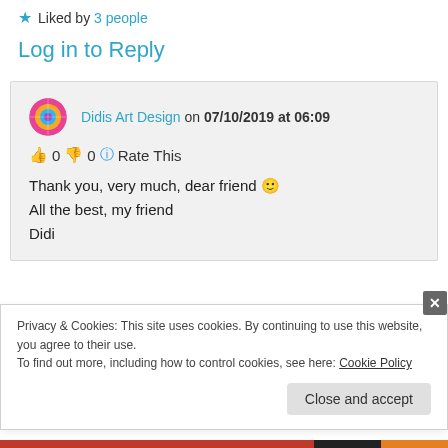Liked by 3 people
Log in to Reply
Didis Art Design on 07/10/2019 at 06:09
👍 0 👎 0 ℹ Rate This
Thank you, very much, dear friend 🙂
All the best, my friend
Didi
Privacy & Cookies: This site uses cookies. By continuing to use this website, you agree to their use. To find out more, including how to control cookies, see here: Cookie Policy
Close and accept